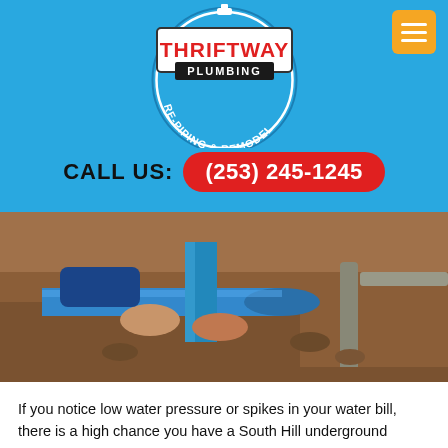[Figure (logo): Thriftway Plumbing Re-Piping & Remodel circular logo with blue background and red/white text]
CALL US: (253) 245-1245
[Figure (photo): A plumber working with blue PVC pipes in a dirt trench, laying underground plumbing]
If you notice low water pressure or spikes in your water bill, there is a high chance you have a South Hill underground plumbing leak. An unattended underground plumbing leak can escalate into health and safety hazards, as well as costly damages to your property.
A South Hill underground plumbing leak on your water lines, drain lines, or sewage systems, can lead to major...